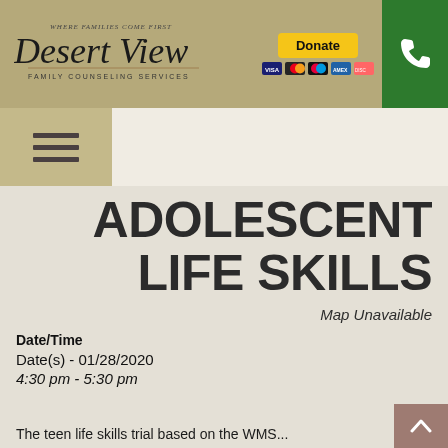[Figure (logo): Desert View Family Counseling Services logo with italic script text and tagline 'Where Families Come First']
[Figure (other): PayPal Donate button with payment card icons (Visa, Mastercard, etc.)]
[Figure (other): Green phone button with white phone icon]
[Figure (other): Hamburger menu button (three horizontal lines) on tan background]
ADOLESCENT LIFE SKILLS
Map Unavailable
Date/Time
Date(s) - 01/28/2020
4:30 pm - 5:30 pm
The teen life skills trial based on the WMS...